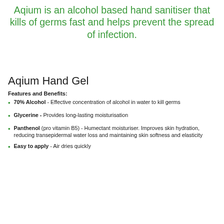Aqium is an alcohol based hand sanitiser that kills of germs fast and helps prevent the spread of infection.
Aqium Hand Gel
Features and Benefits:
70% Alcohol - Effective concentration of alcohol in water to kill germs
Glycerine - Provides long-lasting moisturisation
Panthenol (pro vitamin B5) - Humectant moisturiser. Improves skin hydration, reducing transepidermal water loss and maintaining skin softness and elasticity
Easy to apply - Air dries quickly